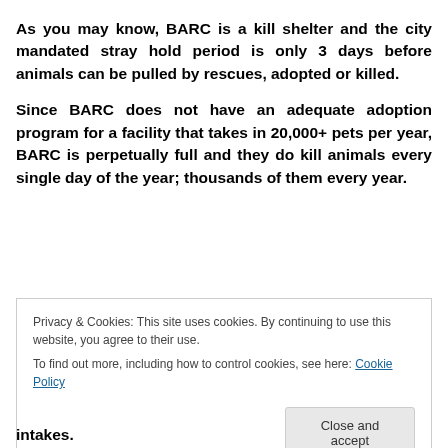As you may know, BARC is a kill shelter and the city mandated stray hold period is only 3 days before animals can be pulled by rescues, adopted or killed.
Since BARC does not have an adequate adoption program for a facility that takes in 20,000+ pets per year, BARC is perpetually full and they do kill animals every single day of the year; thousands of them every year.
Privacy & Cookies: This site uses cookies. By continuing to use this website, you agree to their use. To find out more, including how to control cookies, see here: Cookie Policy
Close and accept
intakes.